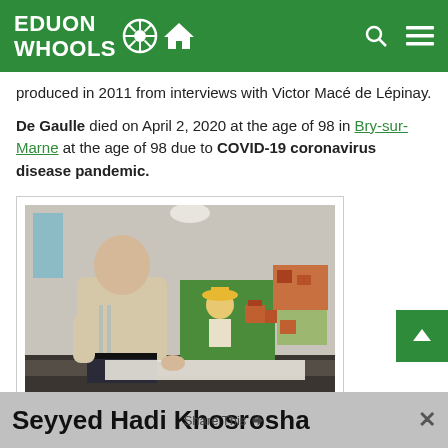EDUON WHOOLS
produced in 2011 from interviews with Victor Macé de Lépinay.
De Gaulle died on April 2, 2020 at the age of 98 in Bry-sur-Marne at the age of 98 due to COVID-19 coronavirus disease pandemic.
[Figure (photo): Elderly man in beige jacket standing next to colorful paintings]
François de Gaulle. Photo credit: leparisien.fr
Seyyed Hadi Khosrosha